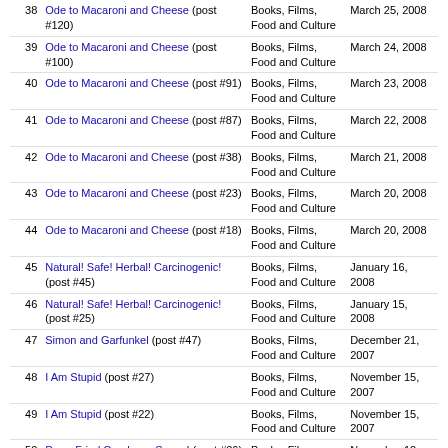| # | Title | Category | Date |
| --- | --- | --- | --- |
| 38 | Ode to Macaroni and Cheese (post #120) | Books, Films, Food and Culture | March 25, 2008 |
| 39 | Ode to Macaroni and Cheese (post #100) | Books, Films, Food and Culture | March 24, 2008 |
| 40 | Ode to Macaroni and Cheese (post #91) | Books, Films, Food and Culture | March 23, 2008 |
| 41 | Ode to Macaroni and Cheese (post #87) | Books, Films, Food and Culture | March 22, 2008 |
| 42 | Ode to Macaroni and Cheese (post #38) | Books, Films, Food and Culture | March 21, 2008 |
| 43 | Ode to Macaroni and Cheese (post #23) | Books, Films, Food and Culture | March 20, 2008 |
| 44 | Ode to Macaroni and Cheese (post #18) | Books, Films, Food and Culture | March 20, 2008 |
| 45 | Natural! Safe! Herbal! Carcinogenic! (post #45) | Books, Films, Food and Culture | January 16, 2008 |
| 46 | Natural! Safe! Herbal! Carcinogenic! (post #25) | Books, Films, Food and Culture | January 15, 2008 |
| 47 | Simon and Garfunkel (post #47) | Books, Films, Food and Culture | December 21, 2007 |
| 48 | I Am Stupid (post #27) | Books, Films, Food and Culture | November 15, 2007 |
| 49 | I Am Stupid (post #22) | Books, Films, Food and Culture | November 15, 2007 |
| 50 | Deep-Fried Cranberry Sauce! (post #36) | Books, Films, Food and Culture | November 12, 2007 |
Contact Us | Hatrack River Home Page
Copyright © 2008 Hatrack River Enterprises Inc. All rights reserved. Reproduction in whole or in part without permission is prohibited.